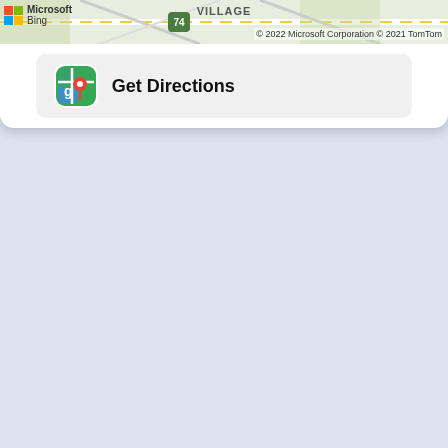[Figure (screenshot): Partial Bing map strip showing 'VILLAGE' label, route 74 marker, Microsoft Bing logo, and copyright notice '© 2022 Microsoft Corporation © 2021 TomTom'. Below is a Google Maps 'Get Directions' button with Google Maps icon on a light grey rounded rectangle. The rest of the page is a light blue-grey background.]